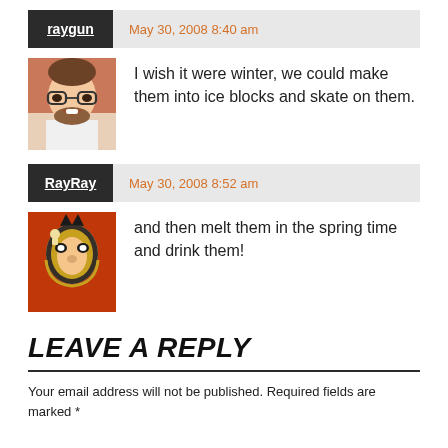raygun — May 30, 2008 8:40 am
[Figure (photo): Avatar of user raygun: smiling young man with glasses and beard]
I wish it were winter, we could make them into ice blocks and skate on them.
RayRay — May 30, 2008 8:52 am
[Figure (photo): Avatar of user RayRay: person wearing a luchador wrestling mask, orange/red shirt]
and then melt them in the spring time and drink them!
LEAVE A REPLY
Your email address will not be published. Required fields are marked *